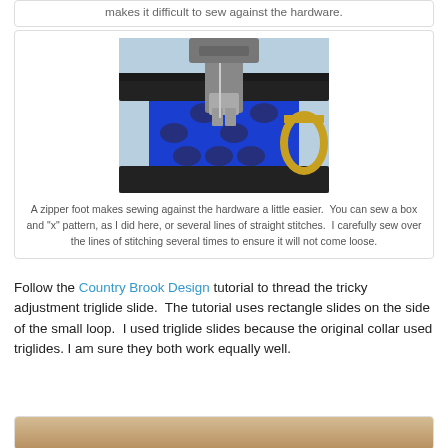makes it difficult to sew against the hardware.
[Figure (photo): Close-up photo of a sewing machine foot (zipper foot) sewing blue patterned fabric against black webbing with a gold D-ring hardware piece visible on the right.]
A zipper foot makes sewing against the hardware a little easier.  You can sew a box and "x" pattern, as I did here, or several lines of straight stitches.  I carefully sew over the lines of stitching several times to ensure it will not come loose.
Follow the Country Brook Design tutorial to thread the tricky adjustment triglide slide.  The tutorial uses rectangle slides on the side of the small loop.  I used triglide slides because the original collar used triglides. I am sure they both work equally well.
[Figure (photo): Partial view of another sewing project photo at the bottom of the page.]